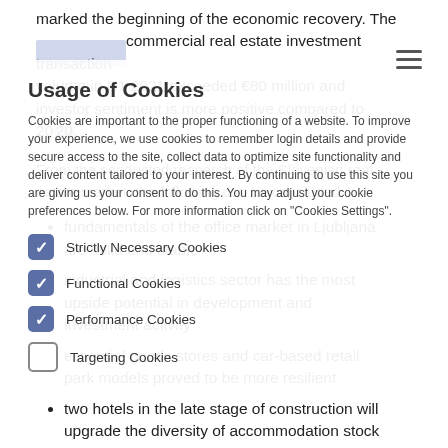marked the beginning of the economic recovery. The commercial real estate investment transaction volume in H1 2021 exceeded €80 million and investor sentiment is more positive compared to 2020.
From the conducted research of the Slovenian real estate market, the following can be concluded:
fundamentals of the office market in Ljubljana are solid and stable
industrial and logistics sector has the most upside potential in development and investment activity
essential goods stores and car-based retail park models proved to be more resilient
two hotels in the late stage of construction will upgrade the diversity of accommodation stock in Ljubljana
Usage of Cookies
Cookies are important to the proper functioning of a website. To improve your experience, we use cookies to remember login details and provide secure access to the site, collect data to optimize site functionality and deliver content tailored to your interest. By continuing to use this site you are giving us your consent to do this. You may adjust your cookie preferences below. For more information click on "Cookies Settings".
Strictly Necessary Cookies
Functional Cookies
Performance Cookies
Targeting Cookies